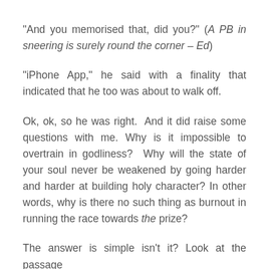“And you memorised that, did you?” (A PB in sneering is surely round the corner – Ed)
“iPhone App,” he said with a finality that indicated that he too was about to walk off.
Ok, ok, so he was right. And it did raise some questions with me. Why is it impossible to overtrain in godliness? Why will the state of your soul never be weakened by going harder and harder at building holy character? In other words, why is there no such thing as burnout in running the race towards the prize?
The answer is simple isn’t it? Look at the passage